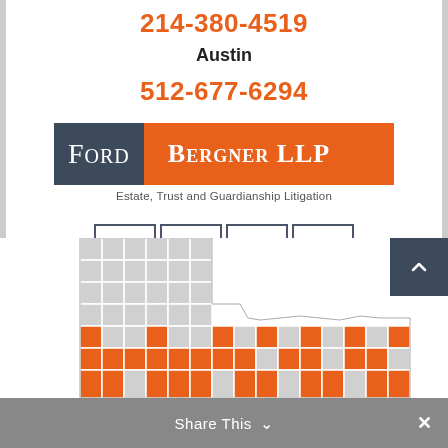214-380-4519
Austin
512-677-6294
[Figure (logo): Ford + Bergner LLP logo with dark grey and orange background. Tagline: Estate, Trust and Guardianship Litigation]
[Figure (infographic): Four social media icon buttons in boxes: Facebook (f), LinkedIn (in), Twitter (bird), YouTube (play button)]
[Figure (map): Partial map of Texas counties with orange and grey highlighted regions, partially cropped at bottom]
Share This